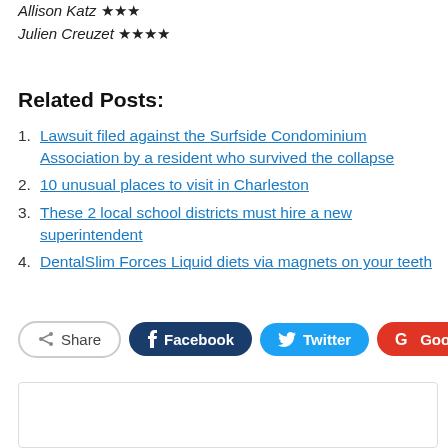Allison Katz ★★★
Julien Creuzet ★★★★
Related Posts:
Lawsuit filed against the Surfside Condominium Association by a resident who survived the collapse
10 unusual places to visit in Charleston
These 2 local school districts must hire a new superintendent
DentalSlim Forces Liquid diets via magnets on your teeth
[Figure (infographic): Social share buttons: Share, Facebook, Twitter, Google+, and a plus button]
David R. Davis